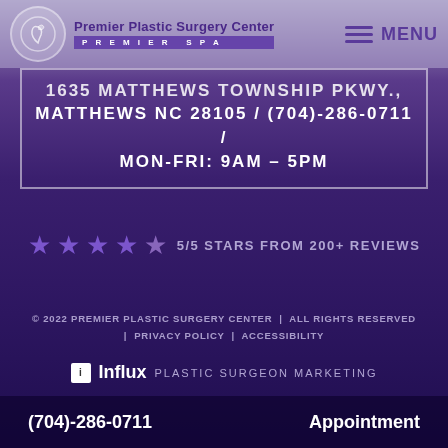[Figure (logo): Premier Plastic Surgery Center logo with swan icon and PREMIER SPA text]
MENU
1635 MATTHEWS TOWNSHIP PKWY., MATTHEWS NC 28105 / (704)-286-0711 / MON-FRI: 9AM – 5PM
5/5 STARS FROM 200+ REVIEWS
© 2022 PREMIER PLASTIC SURGERY CENTER | ALL RIGHTS RESERVED | PRIVACY POLICY | ACCESSIBILITY
[Figure (logo): Influx Plastic Surgeon Marketing logo]
(704)-286-0711
Appointment